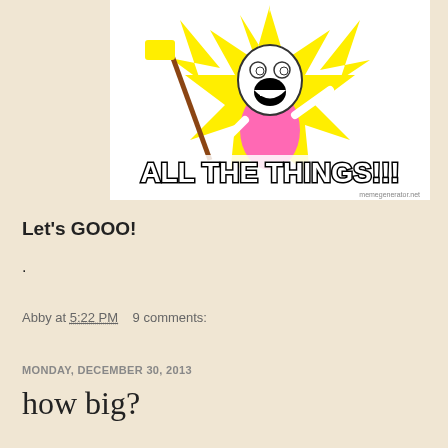[Figure (illustration): Meme image of cartoon character holding a broom with mouth wide open, yellow star burst background, text 'ALL THE THINGS!!!' at bottom, watermark 'memegenerator.net']
Let's GOOO!
.
Abby at 5:22 PM   9 comments:
MONDAY, DECEMBER 30, 2013
how big?